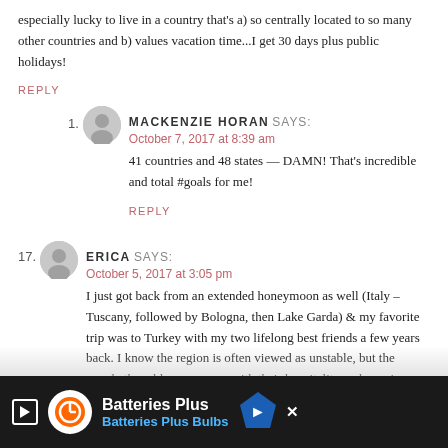especially lucky to live in a country that's a) so centrally located to so many other countries and b) values vacation time...I get 30 days plus public holidays!
REPLY
MACKENZIE HORAN SAYS:
October 7, 2017 at 8:39 am
41 countries and 48 states — DAMN! That's incredible and total #goals for me!
REPLY
17. ERICA SAYS:
October 5, 2017 at 3:05 pm
I just got back from an extended honeymoon as well (Italy – Tuscany, followed by Bologna, then Lake Garda) & my favorite trip was to Turkey with my two lifelong best friends a few years back. I know the region is often viewed as unstable, but the people there blew me away with their hospitality and genuine kindness. We did 5 nights on the European side of Istanbul in an air bnb (we still get into hysterical laughter over stories from that experience), 3 nights out in Cappadocia in a 5 star cave hotel (hot air ballooning at dawn — absolutely amazing!) and I tried to do the rest on the...
[Figure (other): Batteries Plus advertisement banner at bottom of page showing logo, 'Batteries Plus' text, 'Batteries Plus Bulbs' subtitle, play button icon, and a navigation sign icon]